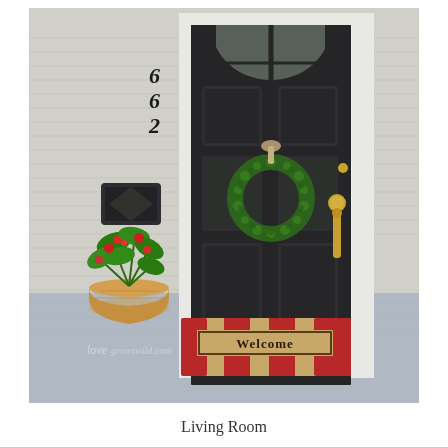[Figure (photo): A front door of a house numbered 662 with a black door decorated with a green boxwood wreath. A red and tan striped welcome mat sits at the base of the door. A potted plant with red flowers is on the left side of the porch. The house has gray siding, a white door frame, brass door handle and knob. A watermark reading 'lovegrowswild.com' is partially visible at the bottom left.]
Living Room